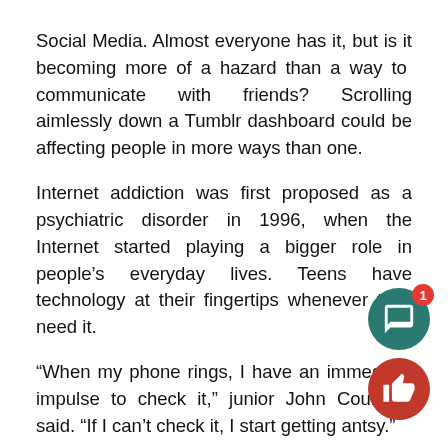Social Media. Almost everyone has it, but is it becoming more of a hazard than a way to communicate with friends? Scrolling aimlessly down a Tumblr dashboard could be affecting people in more ways than one.
Internet addiction was first proposed as a psychiatric disorder in 1996, when the Internet started playing a bigger role in people's everyday lives. Teens have technology at their fingertips whenever they need it.
“When my phone rings, I have an immediate impulse to check it,” junior John Courtney said. “If I can’t check it, I start getting antsy.”
Students’ phones are always with them, whether they’re in their pockets, purses, backpacks or hands. Checking their phones becomes a subconscious habit, and most of the time, they don’t even realize